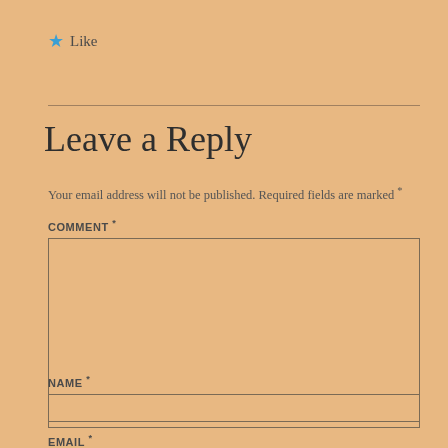★ Like
Leave a Reply
Your email address will not be published. Required fields are marked *
COMMENT *
[Figure (other): Empty comment text area input box]
NAME *
[Figure (other): Empty name text input box]
EMAIL *